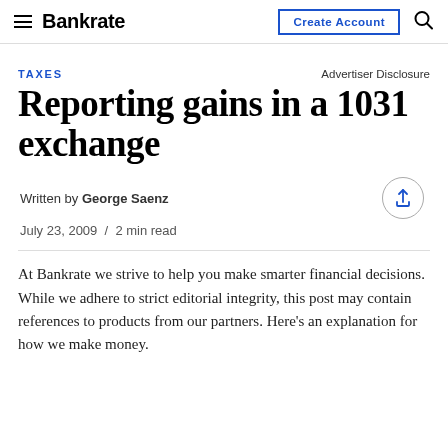Bankrate | Create Account
TAXES
Advertiser Disclosure
Reporting gains in a 1031 exchange
Written by George Saenz
July 23, 2009 / 2 min read
At Bankrate we strive to help you make smarter financial decisions. While we adhere to strict editorial integrity, this post may contain references to products from our partners. Here's an explanation for how we make money.